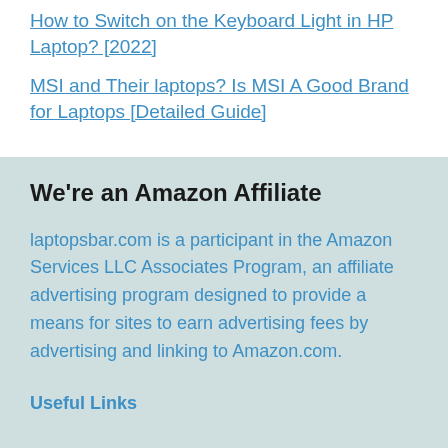How to Switch on the Keyboard Light in HP Laptop? [2022]
MSI and Their laptops? Is MSI A Good Brand for Laptops [Detailed Guide]
We're an Amazon Affiliate
laptopsbar.com is a participant in the Amazon Services LLC Associates Program, an affiliate advertising program designed to provide a means for sites to earn advertising fees by advertising and linking to Amazon.com.
Useful Links